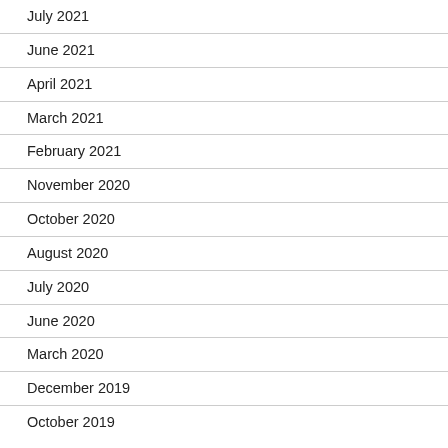July 2021
June 2021
April 2021
March 2021
February 2021
November 2020
October 2020
August 2020
July 2020
June 2020
March 2020
December 2019
October 2019